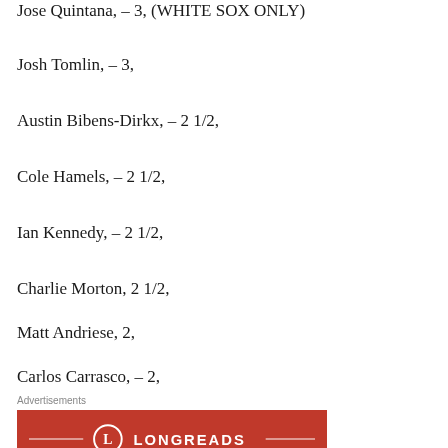Jose Quintana, – 3, (WHITE SOX ONLY)
Josh Tomlin, – 3,
Austin Bibens-Dirkx, – 2 1/2,
Cole Hamels, – 2 1/2,
Ian Kennedy, – 2 1/2,
Charlie Morton, 2 1/2,
Matt Andriese, 2,
Carlos Carrasco, – 2,
Mike Fiers, – 2,
[Figure (other): Longreads advertisement banner with red background and Longreads logo]